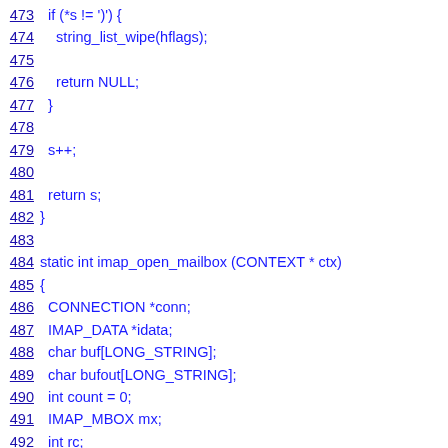473  if (*s != ')') {
474    string_list_wipe(hflags);
475
476    return NULL;
477  }
478
479  s++;
480
481  return s;
482 }
483
484 static int imap_open_mailbox (CONTEXT * ctx)
485 {
486  CONNECTION *conn;
487  IMAP_DATA *idata;
488  char buf[LONG_STRING];
489  char bufout[LONG_STRING];
490  int count = 0;
491  IMAP_MBOX mx;
492  int rc;
493
494  if (imap_parse_path (ctx->path, &mx)) {
495    mutt_error (_("%%s is an invalid IMAP path"), ctx->path);
496    return -1;
497  }